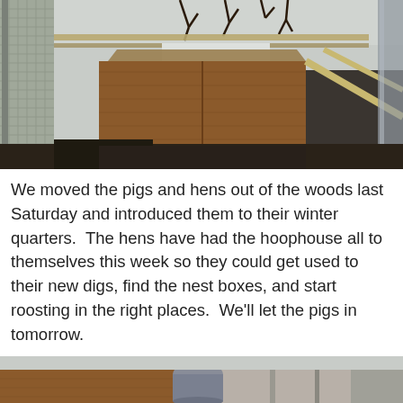[Figure (photo): Photograph of a wooden structure inside a hoophouse or farm building, showing plywood walls, wooden beams and framing, chain-link fence on the left, and bare tree branches/vines visible at the top. The scene appears to be a winter farm setup.]
We moved the pigs and hens out of the woods last Saturday and introduced them to their winter quarters.  The hens have had the hoophouse all to themselves this week so they could get used to their new digs, find the nest boxes, and start roosting in the right places.  We'll let the pigs in tomorrow.
[Figure (photo): Partial photograph at the bottom of the page showing farm equipment or structures, partially cropped. A barrel or container and wooden/metal framing elements are visible.]